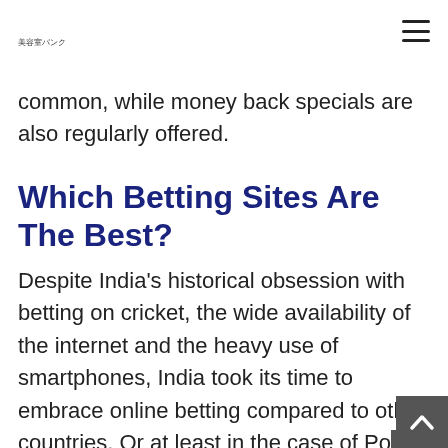美容室バンク
common, while money back specials are also regularly offered.
Which Betting Sites Are The Best?
Despite India's historical obsession with betting on cricket, the wide availability of the internet and the heavy use of smartphones, India took its time to embrace online betting compared to other countries. Or at least in the case of Po…